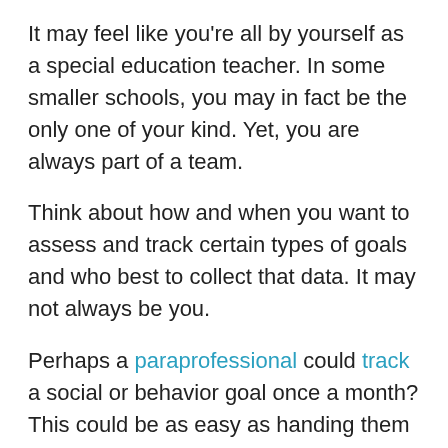It may feel like you're all by yourself as a special education teacher. In some smaller schools, you may in fact be the only one of your kind. Yet, you are always part of a team.
Think about how and when you want to assess and track certain types of goals and who best to collect that data. It may not always be you.
Perhaps a paraprofessional could track a social or behavior goal once a month? This could be as easy as handing them a clipboard while they work with students.
Maybe that helpful parent volunteer in your room would like to sit with your students and hear them read?
You aren't compromising their privacy or education by having someone else track them for you.  You'd have to credit them for relevant data with the student, however.